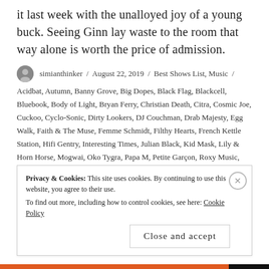it last week with the unalloyed joy of a young buck. Seeing Ginn lay waste to the room that way alone is worth the price of admission.
simianthinker / August 22, 2019 / Best Shows List, Music / Acidbat, Autumn, Banny Grove, Big Dopes, Black Flag, Blackcell, Bluebook, Body of Light, Bryan Ferry, Christian Death, Citra, Cosmic Joe, Cuckoo, Cyclo-Sonic, Dirty Lookers, DJ Couchman, Drab Majesty, Egg Walk, Faith & The Muse, Femme Schmidt, Filthy Hearts, French Kettle Station, Hifi Gentry, Interesting Times, Julian Black, Kid Mask, Lily & Horn Horse, Mogwai, Oko Tygra, Papa M, Petite Garçon, Roxy Music, Sex Gang Children, Shibui Denver, Solypsis, Spirettes, Tarmints, The Bellweather Syndicate, The Dirty Lookers, The Line Cutters, The March Violets, The Pamlico Sound, The Pollution, The
Privacy & Cookies: This site uses cookies. By continuing to use this website, you agree to their use. To find out more, including how to control cookies, see here: Cookie Policy
Close and accept